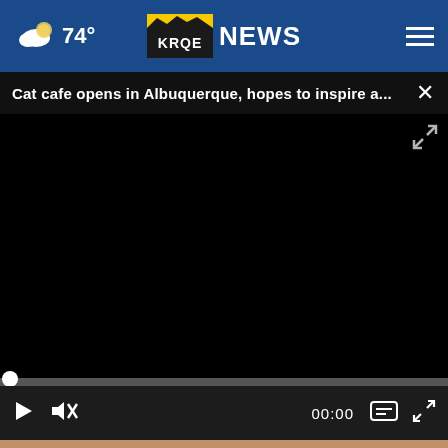KRQE NEWS — 74°
Cat cafe opens in Albuquerque, hopes to inspire a...
[Figure (screenshot): Black video player area showing a paused video with progress bar at beginning and playback controls: play button, mute button, 00:00 timestamp, captions button, and fullscreen button]
[Figure (photo): Advertisement banner showing ABC Door Company with text 'The Choice is Automatic', 'Sales • Installation • Service' on the left with logo, and 'Installations throughout New Mexico' on the right, overlaid on a close-up photo of cat fur]